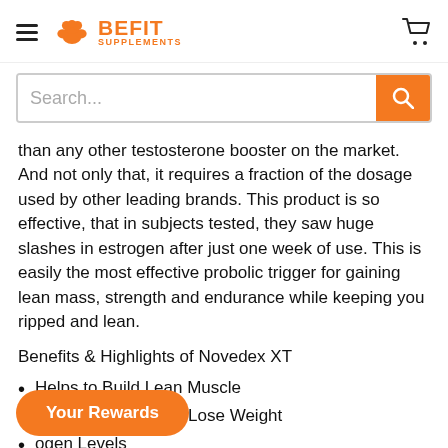BE FIT SUPPLEMENTS (header with hamburger menu, logo, cart icon)
Search...
than any other testosterone booster on the market. And not only that, it requires a fraction of the dosage used by other leading brands. This product is so effective, that in subjects tested, they saw huge slashes in estrogen after just one week of use. This is easily the most effective probolic trigger for gaining lean mass, strength and endurance while keeping you ripped and lean.
Benefits & Highlights of Novedex XT
Helps to Build Lean Muscle
Helps to Burn Fat & Lose Weight
ogen Levels
Helps Increase Natural Testosterone Levels
Your Rewards